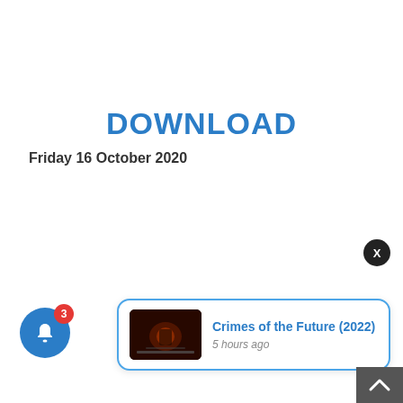DOWNLOAD
Friday 16 October 2020
[Figure (screenshot): Notification popup card showing a movie thumbnail for 'Crimes of the Future (2022)' posted 5 hours ago, with a blue border, an X close button, a blue bell notification button with badge count 3, and a grey scroll-to-top button.]